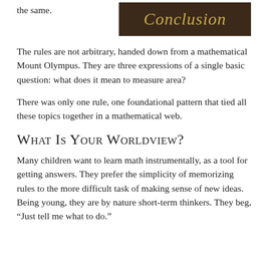the same.
[Figure (illustration): Dark brown banner with gold italic script reading 'Conclusion']
The rules are not arbitrary, handed down from a mathematical Mount Olympus. They are three expressions of a single basic question: what does it mean to measure area?
There was only one rule, one foundational pattern that tied all these topics together in a mathematical web.
What Is Your Worldview?
Many children want to learn math instrumentally, as a tool for getting answers. They prefer the simplicity of memorizing rules to the more difficult task of making sense of new ideas. Being young, they are by nature short-term thinkers. They beg, “Just tell me what to do.”